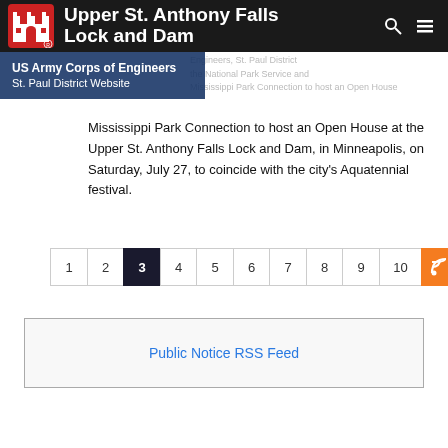Upper St. Anthony Falls Lock and Dam
US Army Corps of Engineers St. Paul District Website
Mississippi Park Connection to host an Open House at the Upper St. Anthony Falls Lock and Dam, in Minneapolis, on Saturday, July 27, to coincide with the city’s Aquatennial festival.
Pagination: 1 2 3 (current) 4 5 6 7 8 9 10 RSS
Public Notice RSS Feed